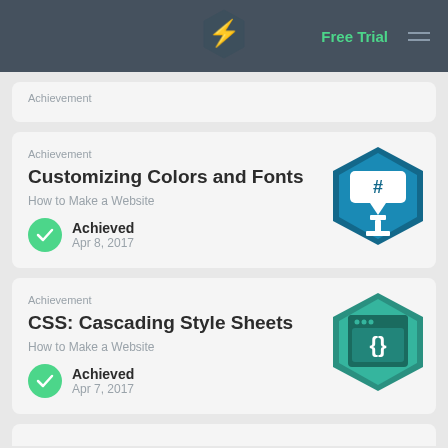Free Trial
Achievement
Customizing Colors and Fonts
How to Make a Website
Achieved Apr 8, 2017
Achievement
CSS: Cascading Style Sheets
How to Make a Website
Achieved Apr 7, 2017